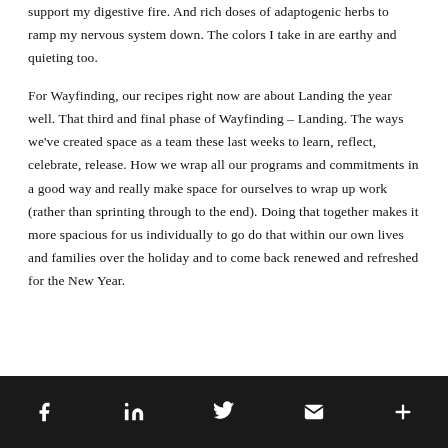support my digestive fire. And rich doses of adaptogenic herbs to ramp my nervous system down. The colors I take in are earthy and quieting too.
For Wayfinding, our recipes right now are about Landing the year well. That third and final phase of Wayfinding – Landing. The ways we've created space as a team these last weeks to learn, reflect, celebrate, release. How we wrap all our programs and commitments in a good way and really make space for ourselves to wrap up work (rather than sprinting through to the end). Doing that together makes it more spacious for us individually to go do that within our own lives and families over the holiday and to come back renewed and refreshed for the New Year.
[Facebook] [LinkedIn] [Twitter] [Email] [More]